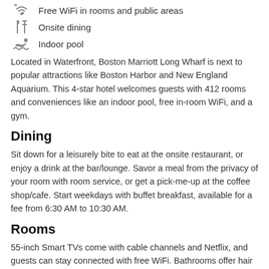Free WiFi in rooms and public areas
Onsite dining
Indoor pool
Located in Waterfront, Boston Marriott Long Wharf is next to popular attractions like Boston Harbor and New England Aquarium. This 4-star hotel welcomes guests with 412 rooms and conveniences like an indoor pool, free in-room WiFi, and a gym.
Dining
Sit down for a leisurely bite to eat at the onsite restaurant, or enjoy a drink at the bar/lounge. Savor a meal from the privacy of your room with room service, or get a pick-me-up at the coffee shop/cafe. Start weekdays with buffet breakfast, available for a fee from 6:30 AM to 10:30 AM.
Rooms
55-inch Smart TVs come with cable channels and Netflix, and guests can stay connected with free WiFi. Bathrooms offer hair dryers and free toiletries, and beds sport pillow menus. Other standard amenities include coffee makers, safes, and phones. Change of towels is available on request.